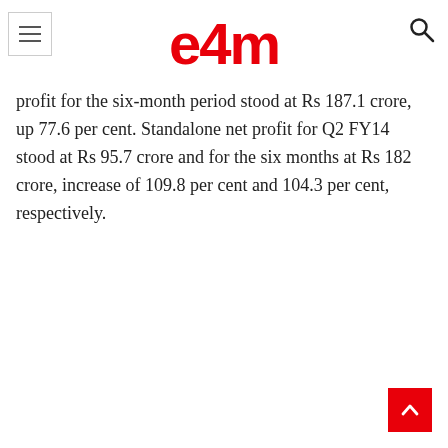e4m
profit for the six-month period stood at Rs 187.1 crore, up 77.6 per cent. Standalone net profit for Q2 FY14 stood at Rs 95.7 crore and for the six months at Rs 182 crore, increase of 109.8 per cent and 104.3 per cent, respectively.